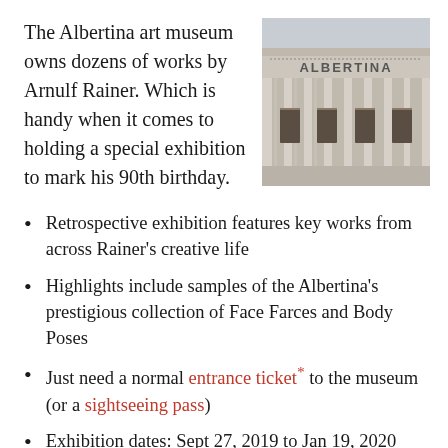The Albertina art museum owns dozens of works by Arnulf Rainer. Which is handy when it comes to holding a special exhibition to mark his 90th birthday.
[Figure (photo): Photograph of the Albertina museum building facade showing classical columns and the 'ALBERTINA' sign.]
Retrospective exhibition features key works from across Rainer's creative life
Highlights include samples of the Albertina's prestigious collection of Face Farces and Body Poses
Just need a normal entrance ticket* to the museum (or a sightseeing pass)
Exhibition dates: Sept 27, 2019 to Jan 19, 2020